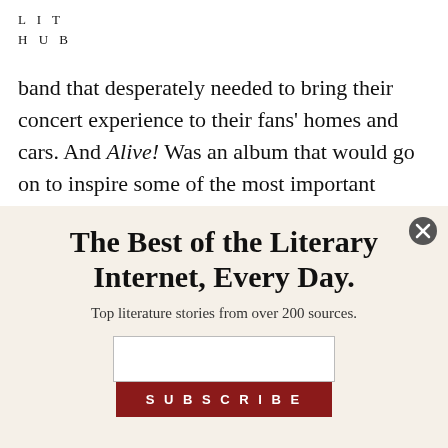LIT HUB
band that desperately needed to bring their concert experience to their fans' homes and cars. And Alive! Was an album that would go on to inspire some of the most important purveyors of heavy music.
“I first heard ‘Rock and Roll All Nite’ on the car
The Best of the Literary Internet, Every Day.
Top literature stories from over 200 sources.